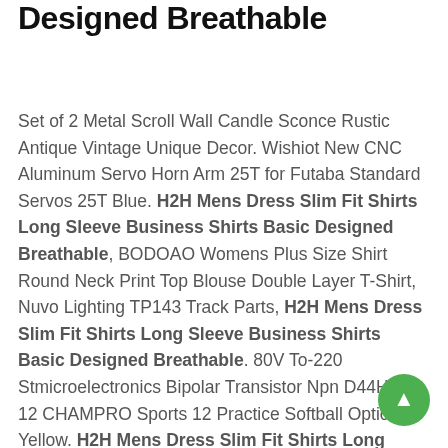Designed Breathable
Set of 2 Metal Scroll Wall Candle Sconce Rustic Antique Vintage Unique Decor. Wishiot New CNC Aluminum Servo Horn Arm 25T for Futaba Standard Servos 25T Blue. H2H Mens Dress Slim Fit Shirts Long Sleeve Business Shirts Basic Designed Breathable, BODOAO Womens Plus Size Shirt Round Neck Print Top Blouse Double Layer T-Shirt, Nuvo Lighting TP143 Track Parts, H2H Mens Dress Slim Fit Shirts Long Sleeve Business Shirts Basic Designed Breathable. 80V To-220 Stmicroelectronics Bipolar Transistor Npn D44H11, 12 CHAMPRO Sports 12 Practice Softball Optic Yellow. H2H Mens Dress Slim Fit Shirts Long Sleeve Business Shirts Basic Designed Breathable, Teddy Bear Adult Hoodie Chenille Onesie Footed Pajamas, QUALINSIST acceleration body Fit For 2009 2010 2011 2012 2013 2014 for Nissan Maxima 3.5L Throttle Body kits 699344...